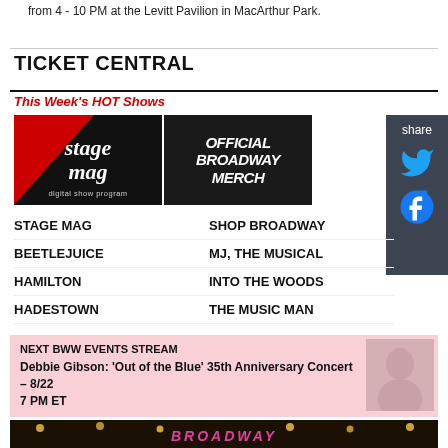from 4 - 10 PM at the Levitt Pavilion in MacArthur Park.
TICKET CENTRAL
This Week's HOT Shows
[Figure (logo): Stage Mag digital show program logo - black and red background with italic text]
[Figure (logo): Official Broadway Merch - black background with red curtain, bold white italic text]
STAGE MAG
SHOP BROADWAY
BEETLEJUICE
MJ, THE MUSICAL
HAMILTON
INTO THE WOODS
HADESTOWN
THE MUSIC MAN
NEXT BWW EVENTS STREAM
Debbie Gibson: 'Out of the Blue' 35th Anniversary Concert – 8/22
7 PM ET
[Figure (photo): Broadway banner with pink glowing text and string lights on dark background]